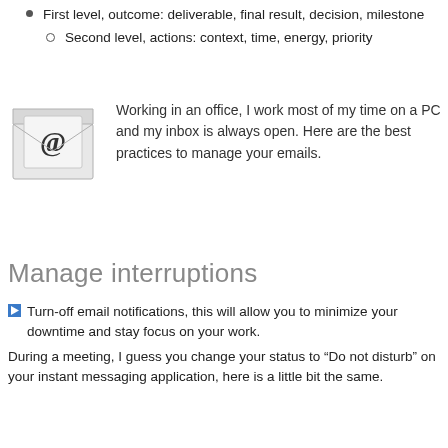First level, outcome: deliverable, final result, decision, milestone
Second level, actions: context, time, energy, priority
[Figure (illustration): An envelope icon with an @ symbol on the letter inside, representing email]
Working in an office, I work most of my time on a PC and my inbox is always open. Here are the best practices to manage your emails.
Manage interruptions
Turn-off email notifications, this will allow you to minimize your downtime and stay focus on your work.
During a meeting, I guess you change your status to “Do not disturb” on your instant messaging application, here is a little bit the same.